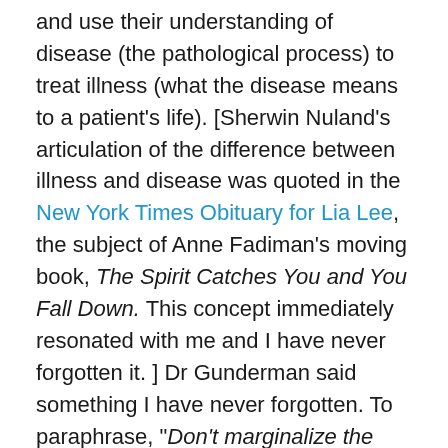and use their understanding of disease (the pathological process) to treat illness (what the disease means to a patient's life). [Sherwin Nuland's articulation of the difference between illness and disease was quoted in the New York Times Obituary for Lia Lee, the subject of Anne Fadiman's moving book, The Spirit Catches You and You Fall Down. This concept immediately resonated with me and I have never forgotten it. ] Dr Gunderman said something I have never forgotten. To paraphrase, "Don't marginalize the topic by sticking it at the end. Sprinkle ethics throughout the course in every place where it applies." I took this advice and several of the sections that I am most proud of are more about patient experience and choice than about neurons and action potentials. As I said in the Preface to Second Edition, "I hope that readers will develop the skill of speaking plainly and compassionately